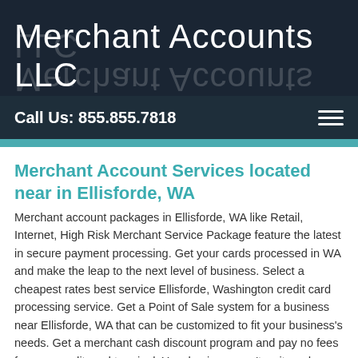[Figure (logo): Merchant Accounts LLC logo with white text on dark navy background with reflection effect]
Call Us: 855.855.7818
Merchant Account Services located near in Ellisforde, WA
Merchant account packages in Ellisforde, WA like Retail, Internet, High Risk Merchant Service Package feature the latest in secure payment processing. Get your cards processed in WA and make the leap to the next level of business. Select a cheapest rates best service Ellisforde, Washington credit card processing service. Get a Point of Sale system for a business near Ellisforde, WA that can be customized to fit your business's needs. Get a merchant cash discount program and pay no fees for your credit card terminal. Your business can't wait, and neither can these offers.
Credit Card Processing Services in
Merchant Accounts LLC provides all types of restaurants and and